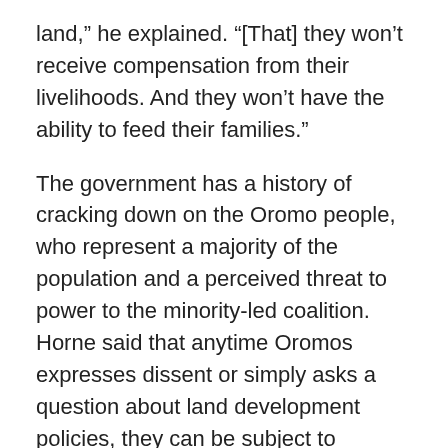land,” he explained. “[That] they won’t receive compensation from their livelihoods. And they won’t have the ability to feed their families.”
The government has a history of cracking down on the Oromo people, who represent a majority of the population and a perceived threat to power to the minority-led coalition. Horne said that anytime Oromos expresses dissent or simply asks a question about land development policies, they can be subject to arbitrary detention and mistreatment.
Beyond discrimination and crackdown on the Oromo, freedom of press and other expression is heavily curtailed in the country as a whole. Horne said coverage of the recent protests has been almost non-existent.